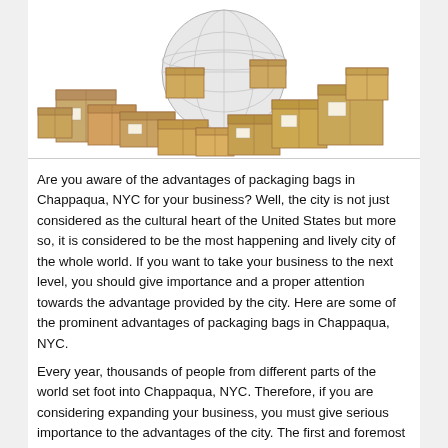[Figure (photo): Photo of many cardboard shipping boxes piled around a globe/world map, representing global shipping and packaging]
Are you aware of the advantages of packaging bags in Chappaqua, NYC for your business? Well, the city is not just considered as the cultural heart of the United States but more so, it is considered to be the most happening and lively city of the whole world. If you want to take your business to the next level, you should give importance and a proper attention towards the advantage provided by the city. Here are some of the prominent advantages of packaging bags in Chappaqua, NYC.
Every year, thousands of people from different parts of the world set foot into Chappaqua, NYC. Therefore, if you are considering expanding your business, you must give serious importance to the advantages of the city. The first and foremost advantage of it is that you need not